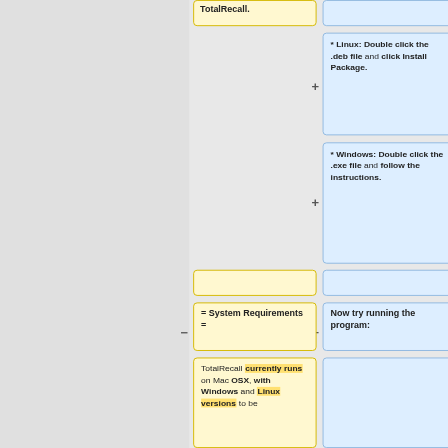TotalRecall.
* Linux: Double click the .deb file and click Install Package.
* Windows: Double click the .exe file and follow the instructions.
= System Requirements =
Now try running the program:
TotalRecall currently runs on Mac OSX, with Windows and Linux versions to be